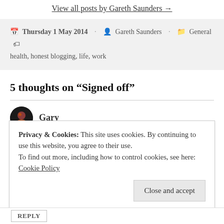View all posts by Gareth Saunders →
Thursday 1 May 2014   Gareth Saunders   General   health, honest blogging, life, work
5 thoughts on “Signed off”
Gary
Friday 2 May 2014 at 00:08
Privacy & Cookies: This site uses cookies. By continuing to use this website, you agree to their use.
To find out more, including how to control cookies, see here: Cookie Policy
Close and accept